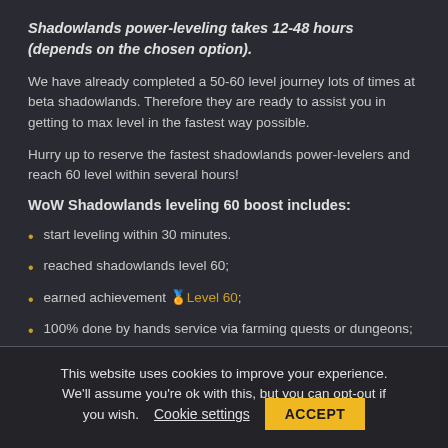Shadowlands power-leveling takes 12-48 hours (depends on the chosen option).
We have already completed a 50-60 level journey lots of times at beta shadowlands. Therefore they are ready to assist you in getting to max level in the fastest way possible.
Hurry up to reserve the fastest shadowlands power-levelers and reach 60 level within several hours!
WoW Shadowlands leveling 60 boost includes:
start leveling within 30 minutes.
reached shadowlands level 60;
earned achievement 🏅Level 60;
100% done by hands service via farming quests or dungeons;
This website uses cookies to improve your experience. We'll assume you're ok with this, but you can opt-out if you wish.
Cookie settings
ACCEPT